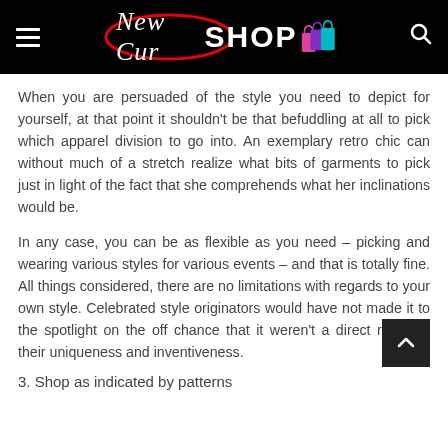New Cur SHOP
When you are persuaded of the style you need to depict for yourself, at that point it shouldn't be that befuddling at all to pick which apparel division to go into. An exemplary retro chic can without much of a stretch realize what bits of garments to pick just in light of the fact that she comprehends what her inclinations would be.
In any case, you can be as flexible as you need – picking and wearing various styles for various events – and that is totally fine. All things considered, there are no limitations with regards to your own style. Celebrated style originators would have not made it to the spotlight on the off chance that it weren't a direct result of their uniqueness and inventiveness.
3. Shop as indicated by patterns